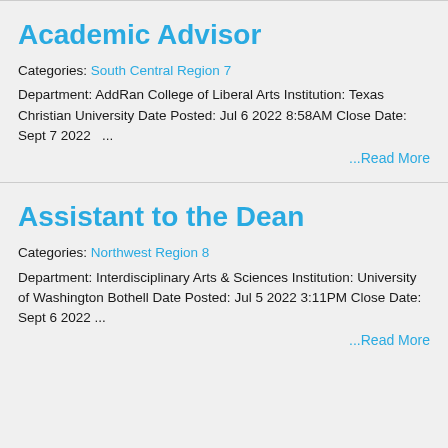Academic Advisor
Categories: South Central Region 7
Department: AddRan College of Liberal Arts Institution: Texas Christian University Date Posted: Jul 6 2022 8:58AM Close Date: Sept 7 2022   ...
...Read More
Assistant to the Dean
Categories: Northwest Region 8
Department: Interdisciplinary Arts & Sciences Institution: University of Washington Bothell Date Posted: Jul 5 2022 3:11PM Close Date: Sept 6 2022 ...
...Read More